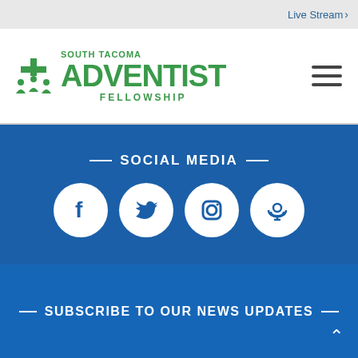Live Stream
[Figure (logo): South Tacoma Adventist Fellowship logo with cross/people icon in green]
— SOCIAL MEDIA —
[Figure (infographic): Four white circular social media icons on blue background: Facebook, Twitter, Instagram, Podcast]
— SUBSCRIBE TO OUR NEWS UPDATES —